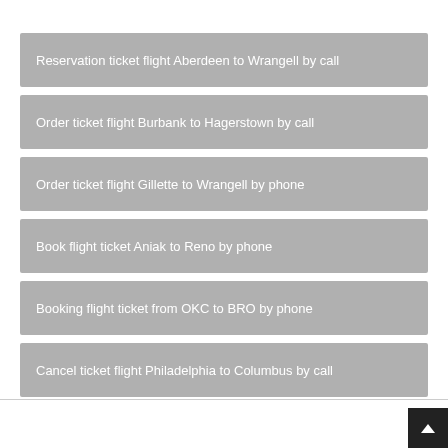Reservation ticket flight Aberdeen to Wrangell by call
Order ticket flight Burbank to Hagerstown by call
Order ticket flight Gillette to Wrangell by phone
Book flight ticket Aniak to Reno by phone
Booking flight ticket from OKC to BRO by phone
Cancel ticket flight Philadelphia to Columbus by call